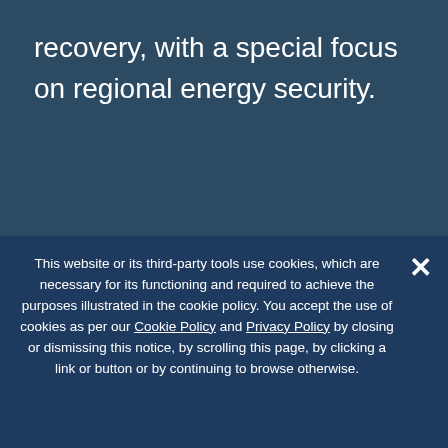recovery, with a special focus on regional energy security.
As the global community continues to grapple with the coronavirus (COVID-19), the Atlantic Council is open for business. Our business, meetings, and
This website or its third-party tools use cookies, which are necessary for its functioning and required to achieve the purposes illustrated in the cookie policy. You accept the use of cookies as per our Cookie Policy and Privacy Policy by closing or dismissing this notice, by scrolling this page, by clicking a link or button or by continuing to browse otherwise.